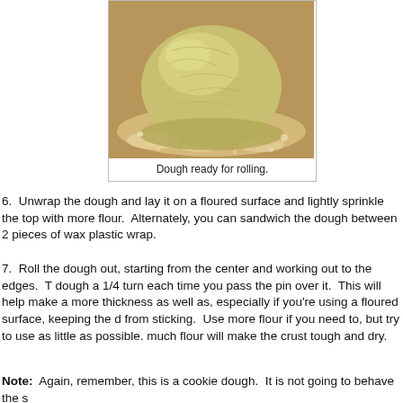[Figure (photo): A round ball of dough sitting on a floured surface, ready for rolling.]
Dough ready for rolling.
6.  Unwrap the dough and lay it on a floured surface and lightly sprinkle the top with more flour.  Alternately, you can sandwich the dough between 2 pieces of wax plastic wrap.
7.  Roll the dough out, starting from the center and working out to the edges.  Turn the dough a 1/4 turn each time you pass the pin over it.  This will help make a more even thickness as well as, especially if you're using a floured surface, keeping the dough from sticking.  Use more flour if you need to, but try to use as little as possible.  Too much flour will make the crust tough and dry.
Note:  Again, remember, this is a cookie dough.  It is not going to behave the same